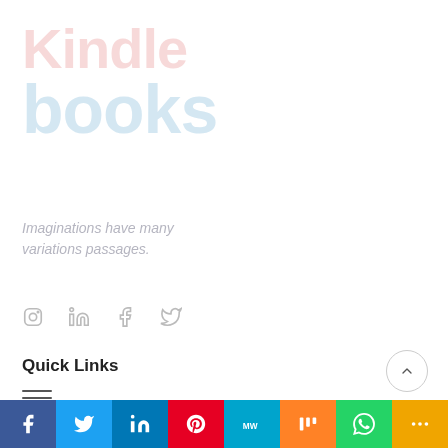[Figure (logo): Kindle books logo watermark in faded pink and light blue colors]
Imaginations have many variations passages
[Figure (infographic): Social media icons: Instagram, LinkedIn, Facebook, Twitter in light gray]
Quick Links
[Figure (other): Hamburger menu icon with three horizontal lines]
[Figure (infographic): Social share bar at bottom: Facebook, Twitter, LinkedIn, Pinterest, MixedWeave, Mix, WhatsApp, More share buttons]
[Figure (other): Scroll to top button, circle with upward arrow]